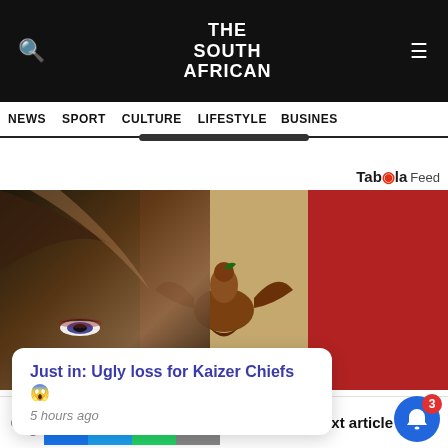THE SOUTH AFRICAN
NEWS  SPORT  CULTURE  LIFESTYLE  BUSINESS
Taboola Feed
[Figure (photo): Woman's face in front of Mexican flag (green, white with eagle emblem, red). A dark circle X button is overlaid on the image.]
Just in: Ugly loss for Kaizer Chiefs 😱
5 hours ago
Next article